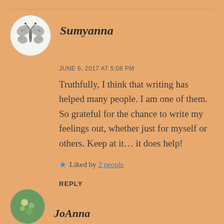[Figure (illustration): Circular avatar with a butterfly illustration in black and white]
Sumyanna
JUNE 6, 2017 AT 5:08 PM
Truthfully, I think that writing has helped many people. I am one of them. So grateful for the chance to write my feelings out, whether just for myself or others. Keep at it... it does help!
★ Liked by 2 people
REPLY
[Figure (illustration): Circular avatar partially visible at bottom, green toned]
JoAnna